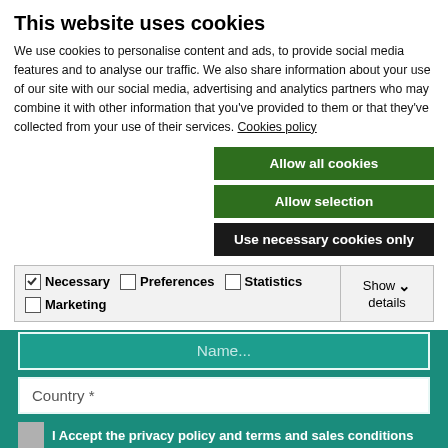This website uses cookies
We use cookies to personalise content and ads, to provide social media features and to analyse our traffic. We also share information about your use of our site with our social media, advertising and analytics partners who may combine it with other information that you've provided to them or that they've collected from your use of their services. Cookies policy
Allow all cookies
Allow selection
Use necessary cookies only
| Necessary | Preferences | Statistics | Marketing | Show details |
| --- | --- | --- | --- | --- |
[Figure (screenshot): Teal/green web form section with Name... input, Country * input field, and a checkbox row with text 'I Accept the privacy policy and terms and sales conditions']